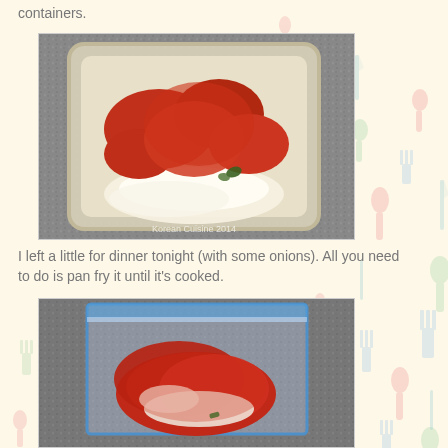containers.
[Figure (photo): Marinated chicken with red sauce and onion rings in a clear plastic food storage container, on a granite surface. Watermark reads 'Korean Cuisine 2014'.]
I left a little for dinner tonight (with some onions). All you need to do is pan fry it until it's cooked.
[Figure (photo): Marinated chicken with red sauce and onions in a zip-lock bag on a granite surface.]